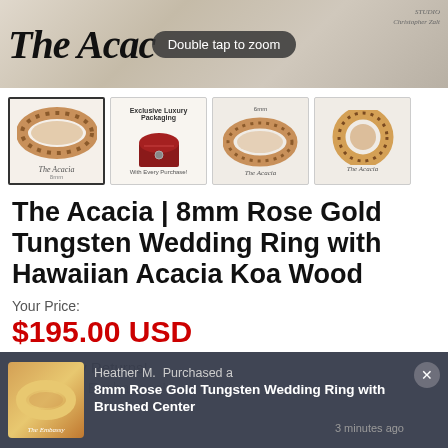[Figure (photo): Hero image of ring with 'Double tap to zoom' badge overlay and 'The Acac...' text, with studio branding on right]
[Figure (photo): Thumbnail 1: Rose gold tungsten ring with koa wood inlay - selected thumbnail]
[Figure (photo): Thumbnail 2: Exclusive Luxury Packaging - red jewelry box]
[Figure (photo): Thumbnail 3: 6mm rose gold tungsten ring]
[Figure (photo): Thumbnail 4: Rose gold ring from above]
The Acacia | 8mm Rose Gold Tungsten Wedding Ring with Hawaiian Acacia Koa Wood
Your Price:
$195.00 USD
✔ 365 Day Returns!
✔ EZ Size Exchanges!
Heather M. Purchased a
8mm Rose Gold Tungsten Wedding Ring with Brushed Center
3 minutes ago